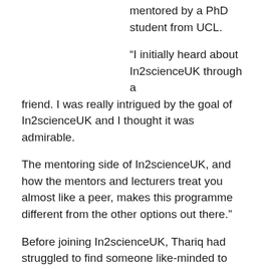mentored by a PhD student from UCL.
“I initially heard about In2scienceUK through a friend. I was really intrigued by the goal of In2scienceUK and I thought it was admirable.
The mentoring side of In2scienceUK, and how the mentors and lecturers treat you almost like a peer, makes this programme different from the other options out there.”
Before joining In2scienceUK, Thariq had struggled to find someone like-minded to share his passion for astrophysics with. We teamed him up with mentor Maria Niculescu-Duvaz, a PhD student from the Galactic Astrophysics Research Group